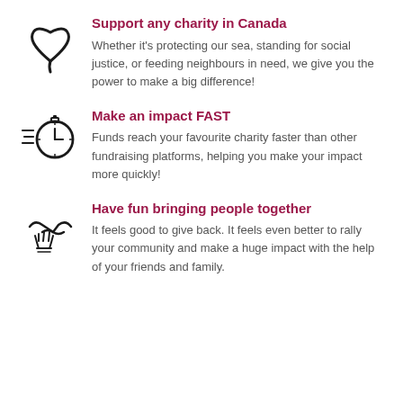[Figure (illustration): Heart icon (outline)]
Support any charity in Canada
Whether it's protecting our sea, standing for social justice, or feeding neighbours in need, we give you the power to make a big difference!
[Figure (illustration): Stopwatch/clock icon with speed lines]
Make an impact FAST
Funds reach your favourite charity faster than other fundraising platforms, helping you make your impact more quickly!
[Figure (illustration): Hands together / community icon]
Have fun bringing people together
It feels good to give back. It feels even better to rally your community and make a huge impact with the help of your friends and family.